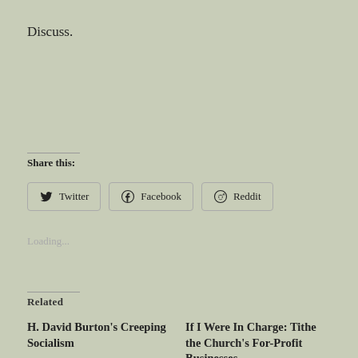Discuss.
Share this:
Twitter
Facebook
Reddit
Loading...
Related
H. David Burton's Creeping Socialism
If I Were In Charge: Tithe the Church's For-Profit Businesses